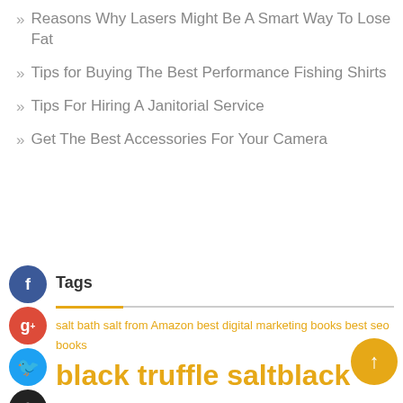Reasons Why Lasers Might Be A Smart Way To Lose Fat
Tips for Buying The Best Performance Fishing Shirts
Tips For Hiring A Janitorial Service
Get The Best Accessories For Your Camera
Tags
salt bath salt from Amazon best digital marketing books best seo books black truffle salt black truffle salt salt buy Dead Sea salt chatbot Chatbot Messenger Dead Sea salt Dead Sea salt from Amazon digital marketing digital marketing